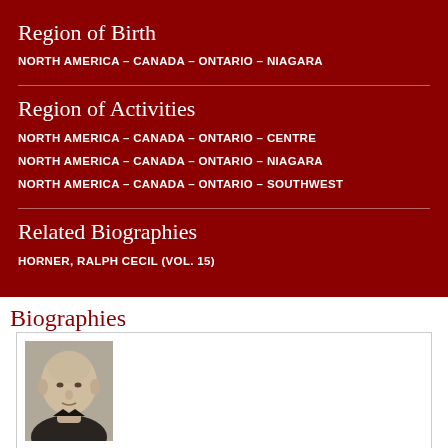Region of Birth
NORTH AMERICA – CANADA – ONTARIO – NIAGARA
Region of Activities
NORTH AMERICA – CANADA – ONTARIO – CENTRE
NORTH AMERICA – CANADA – ONTARIO – NIAGARA
NORTH AMERICA – CANADA – ONTARIO – SOUTHWEST
Related Biographies
HORNER, RALPH CECIL (VOL. 15)
Biographies
[Figure (photo): Black and white portrait photograph of a bald man in dark clothing, facing slightly to the side.]